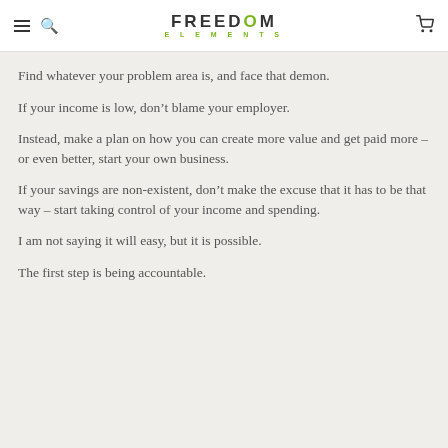FREEDOM ELEMENTS
Find whatever your problem area is, and face that demon.
If your income is low, don’t blame your employer.
Instead, make a plan on how you can create more value and get paid more – or even better, start your own business.
If your savings are non-existent, don’t make the excuse that it has to be that way – start taking control of your income and spending.
I am not saying it will easy, but it is possible.
The first step is being accountable.